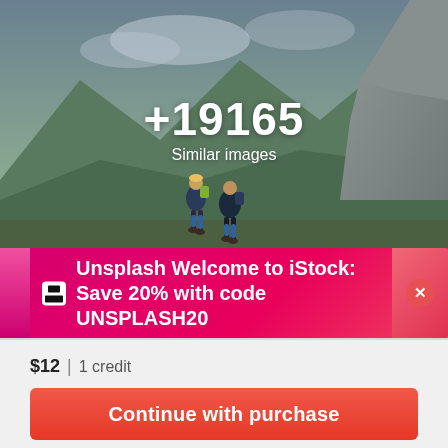[Figure (photo): Mountain hikers photo with overlay showing +19165 Similar images text]
+19165 Similar images
🖼 Unsplash Welcome to iStock: Save 20% with code UNSPLASH20
$12 | 1 credit
Continue with purchase